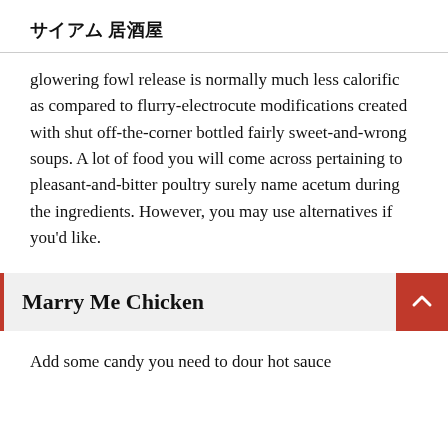サイアム 居酒屋
glowering fowl release is normally much less calorific as compared to flurry-electrocute modifications created with shut off-the-corner bottled fairly sweet-and-wrong soups. A lot of food you will come across pertaining to pleasant-and-bitter poultry surely name acetum during the ingredients. However, you may use alternatives if you'd like.
Marry Me Chicken
Add some candy you need to dour hot sauce